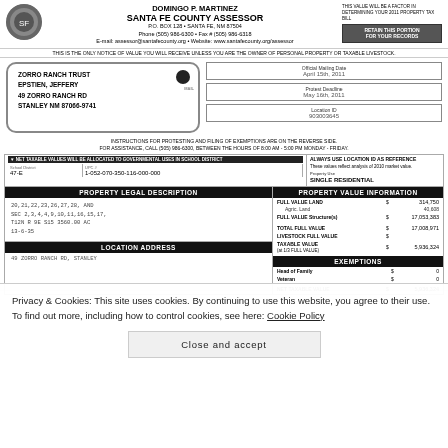DOMINGO P. MARTINEZ SANTA FE COUNTY ASSESSOR P.O. BOX 128 • SANTA FE, NM 87504 Phone (505) 986-6300 • Fax # (505) 986-6318 E-mail: assessor@santafecounty.org • Website: www.santafecounty.org/assessor
THIS IS THE ONLY NOTICE OF VALUE YOU WILL RECEIVE UNLESS YOU ARE THE OWNER OF PERSONAL PROPERTY OR TAXABLE LIVESTOCK.
ZORRO RANCH TRUST
EPSTIEN, JEFFERY
49 ZORRO RANCH RD
STANLEY NM 87066-9741
Official Mailing Date: April 15th, 2011
Protest Deadline: May 16th, 2011
Location ID: 903003645
INSTRUCTIONS FOR PROTESTING AND FILING OF EXEMPTIONS ARE ON THE REVERSE SIDE. FOR ASSISTANCE, CALL (505) 986-6300, BETWEEN THE HOURS OF 8:00 AM - 5:00 PM MONDAY - FRIDAY.
| School District | UPC # | Property Use |
| --- | --- | --- |
| 47-E | 1-052-070-350-116-000-000 | SINGLE RESIDENTIAL |
PROPERTY LEGAL DESCRIPTION
PROPERTY VALUE INFORMATION
20,21,22,23,26,27,28, AND
SEC 2,3,4,4,9,10,11,16,15,17,
T12N R 9E S15 3560.00 AC
13-6-35
| Value Type | $ | Amount |
| --- | --- | --- |
| FULL VALUE LAND | $ | 314,750 |
| Agric. Land |  | 40,608 |
| FULL VALUE Structure(s) | $ | 17,053,383 |
| TOTAL FULL VALUE | $ | 17,008,971 |
| LIVESTOCK FULL VALUE | $ |  |
| TAXABLE VALUE (at 1/3 FULL VALUE) | $ | 5,936,324 |
| EXEMPTIONS |  |  |
| Head of Family | $ | 0 |
| Veteran | $ | 0 |
| NET TAXABLE VALUE | $ | 5,936,324 |
LOCATION ADDRESS
49 ZORRO RANCH RD, STANLEY
Privacy & Cookies: This site uses cookies. By continuing to use this website, you agree to their use. To find out more, including how to control cookies, see here: Cookie Policy
Close and accept